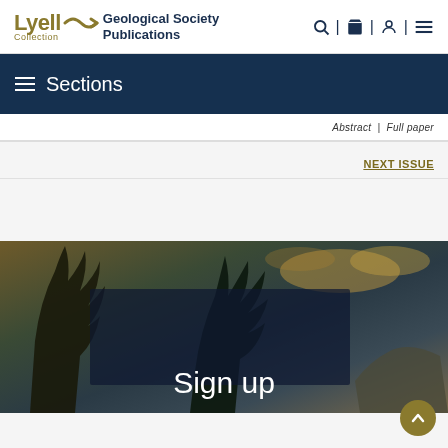Lyell Collection | Geological Society Publications
Sections
Abstract | Full paper
NEXT ISSUE
[Figure (photo): Photograph of trees with dark sky background and a 'Sign up' text overlay on a semi-transparent dark banner]
Sign up